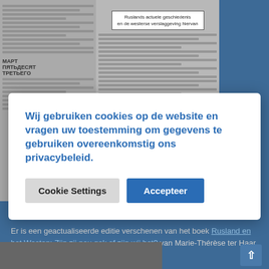[Figure (screenshot): Newspaper background with columns of Cyrillic text and a white title box reading 'Ruslands actuele geschiedenis en de westerse verslaggeving hiervan']
Wij gebruiken cookies op de website en vragen uw toestemming om gegevens te gebruiken overeenkomstig ons privacybeleid.
Cookie Settings | Accepteer
Er is een geactualiseerde editie verschenen van het boek Rusland en het Westen: Zijn zij nou gek of zijn wij het? van Marie-Thérèse ter Haar.
Prijs: € 15,– + € 4,10 porto
Bestellen via: info@ruslandacademie.nl.